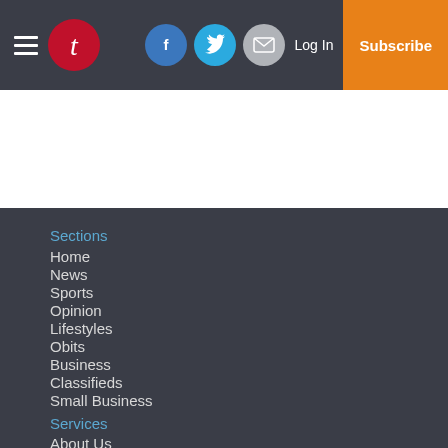Navigation header with hamburger menu, newspaper logo (T), Facebook, Twitter, Email social icons, Log In, and Subscribe button
Sections
Home
News
Sports
Opinion
Lifestyles
Obits
Business
Classifieds
Small Business
Services
About Us